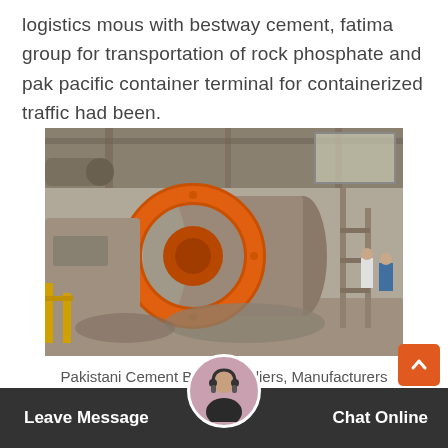logistics mous with bestway cement, fatima group for transportation of rock phosphate and pak pacific container terminal for containerized traffic had been.
[Figure (photo): Industrial ball mill / cement grinding machinery inside a large factory building. The machine is large, orange and grey, with workers standing nearby in the background.]
Pakistani Cement Bags Suppliers, Manufacturers
Find cement bags suppli  latest factory price for ce  st qu  s and c
Leave Message   Chat Online